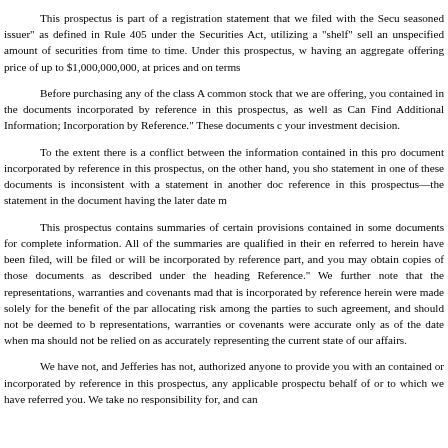This prospectus is part of a registration statement that we filed with the Secu... seasoned issuer" as defined in Rule 405 under the Securities Act, utilizing a "shelf"... sell an unspecified amount of securities from time to time. Under this prospectus, w... having an aggregate offering price of up to $1,000,000,000, at prices and on terms...
Before purchasing any of the class A common stock that we are offering, you... contained in the documents incorporated by reference in this prospectus, as well as... Can Find Additional Information; Incorporation by Reference." These documents c... your investment decision.
To the extent there is a conflict between the information contained in this pro... document incorporated by reference in this prospectus, on the other hand, you sho... statement in one of these documents is inconsistent with a statement in another doc... reference in this prospectus—the statement in the document having the later date m...
This prospectus contains summaries of certain provisions contained in some... documents for complete information. All of the summaries are qualified in their en... referred to herein have been filed, will be filed or will be incorporated by reference... part, and you may obtain copies of those documents as described under the heading... Reference." We further note that the representations, warranties and covenants mad... that is incorporated by reference herein were made solely for the benefit of the par... allocating risk among the parties to such agreement, and should not be deemed to b... representations, warranties or covenants were accurate only as of the date when ma... should not be relied on as accurately representing the current state of our affairs.
We have not, and Jefferies has not, authorized anyone to provide you with an... contained or incorporated by reference in this prospectus, any applicable prospectu... behalf of or to which we have referred you. We take no responsibility for, and can...